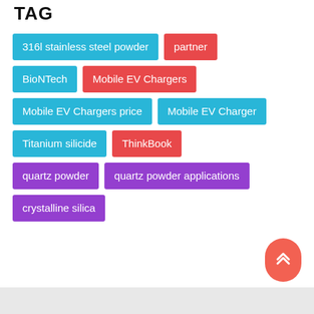TAG
316l stainless steel powder
partner
BioNTech
Mobile EV Chargers
Mobile EV Chargers price
Mobile EV Charger
Titanium silicide
ThinkBook
quartz powder
quartz powder applications
crystalline silica